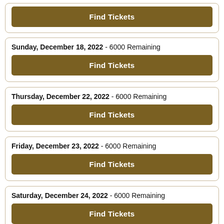Find Tickets (partial card at top)
Sunday, December 18, 2022 - 6000 Remaining | Find Tickets
Thursday, December 22, 2022 - 6000 Remaining | Find Tickets
Friday, December 23, 2022 - 6000 Remaining | Find Tickets
Saturday, December 24, 2022 - 6000 Remaining | Find Tickets
Sunday, December 25, 2022 - 6000 Remaining